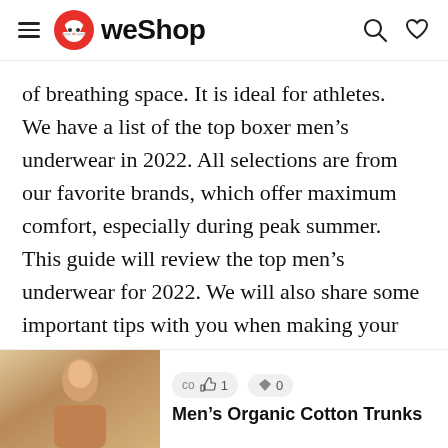WeShop
of breathing space. It is ideal for athletes. We have a list of the top boxer men's underwear in 2022. All selections are from our favorite brands, which offer maximum comfort, especially during peak summer. This guide will review the top men's underwear for 2022. We will also share some important tips with you when making your choice.
[Figure (photo): Product card showing a person smiling with partial text overlay: 'cc', thumbs up icon with '1', diamond icon with '0', and product name 'Men's Organic Cotton Trunks']